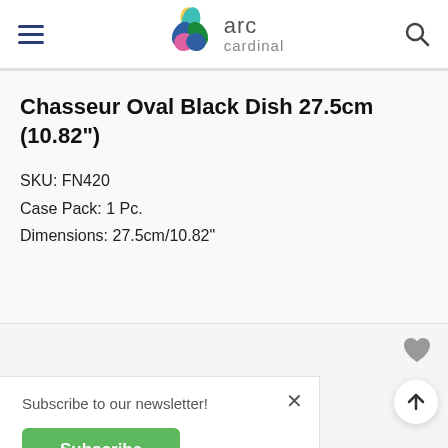arc cardinal
Chasseur Oval Black Dish 27.5cm (10.82")
SKU: FN420
Case Pack: 1 Pc.
Dimensions: 27.5cm/10.82"
Subscribe to our newsletter!
Subscribe
NEW